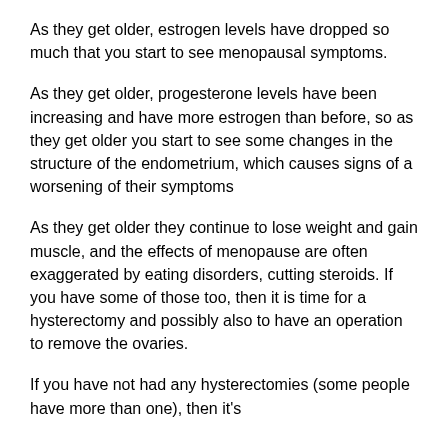As they get older, estrogen levels have dropped so much that you start to see menopausal symptoms.
As they get older, progesterone levels have been increasing and have more estrogen than before, so as they get older you start to see some changes in the structure of the endometrium, which causes signs of a worsening of their symptoms
As they get older they continue to lose weight and gain muscle, and the effects of menopause are often exaggerated by eating disorders, cutting steroids. If you have some of those too, then it is time for a hysterectomy and possibly also to have an operation to remove the ovaries.
If you have not had any hysterectomies (some people have more than one), then it's